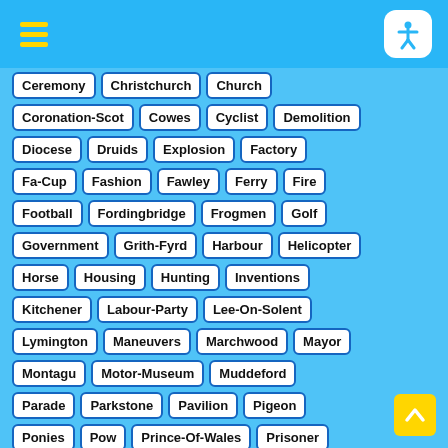Ceremony
Christchurch
Church
Coronation-Scot
Cowes
Cyclist
Demolition
Diocese
Druids
Explosion
Factory
Fa-Cup
Fashion
Fawley
Ferry
Fire
Football
Fordingbridge
Frogmen
Golf
Government
Grith-Fyrd
Harbour
Helicopter
Horse
Housing
Hunting
Inventions
Kitchener
Labour-Party
Lee-On-Solent
Lymington
Maneuvers
Marchwood
Mayor
Montagu
Motor-Museum
Muddeford
Parade
Parkstone
Pavilion
Pigeon
Ponies
Pow
Prince-Of-Wales
Prisoner